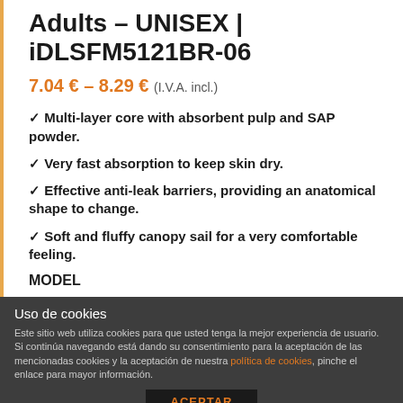Adults – UNISEX | iDLSFM5121BR-06
7.04 € – 8.29 € (I.V.A. incl.)
✓ Multi-layer core with absorbent pulp and SAP powder.
✓ Very fast absorption to keep skin dry.
✓ Effective anti-leak barriers, providing an anatomical shape to change.
✓ Soft and fluffy canopy sail for a very comfortable feeling.
MODEL
Uso de cookies
Este sitio web utiliza cookies para que usted tenga la mejor experiencia de usuario. Si continúa navegando está dando su consentimiento para la aceptación de las mencionadas cookies y la aceptación de nuestra política de cookies, pinche el enlace para mayor información.
ACEPTAR